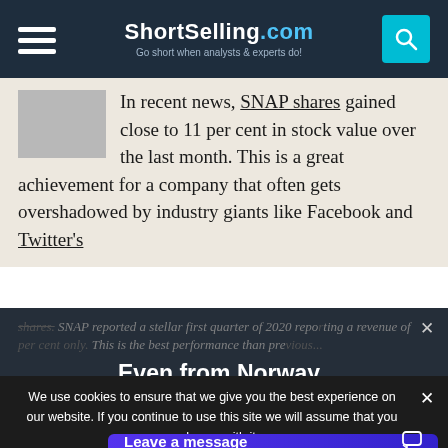ShortSelling.com — Go short when analysts & experts do!
In recent news, SNAP shares gained close to 11 per cent in stock value over the last month. This is a great achievement for a company that often gets overshadowed by industry giants like Facebook and Twitter's shares. SNAP reported a stellar first quarter of 2020 reporting a revenue of ... per cent only. This is the best performance than previous...
Even from Norway
Registered at the short selling broker IQ Option, 5 minutes ago.
We use cookies to ensure that we give you the best experience on our website. If you continue to use this site we will assume that you are happy with it.
Leave a message